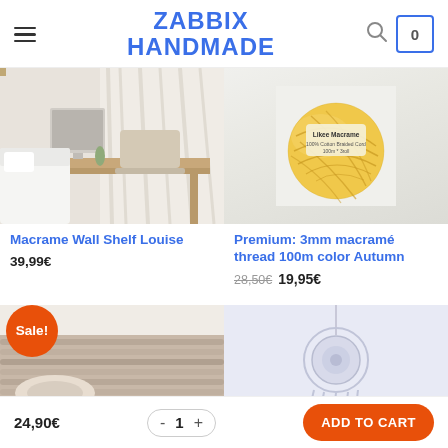ZABBIX HANDMADE
[Figure (photo): Macrame Wall Shelf Louise - bedroom/desk scene with white bedding and wooden furniture]
[Figure (photo): Premium 3mm macrame thread 100m color Autumn - yellow yarn ball with Likee Macrame label]
Macrame Wall Shelf Louise
39,99€
Premium: 3mm macramé thread 100m color Autumn
28,50€  19,95€
[Figure (photo): Sale item - macrame with pink/nude tones]
[Figure (photo): Macrame hanger in light blue/lavender tones]